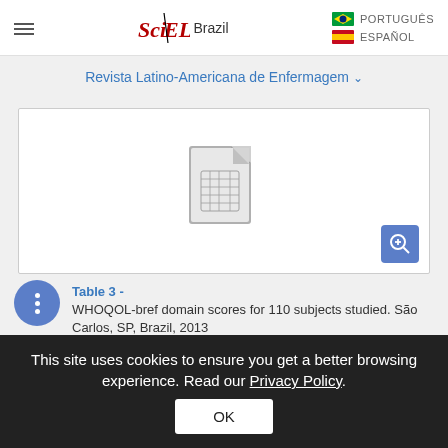SciELO Brazil | PORTUGUÊS | ESPAÑOL
Revista Latino-Americana de Enfermagem
[Figure (table-as-image): Thumbnail placeholder icon of a table/spreadsheet document with a magnifying glass zoom button in the bottom right corner]
Table 3 - WHOQOL-bref domain scores for 110 subjects studied. São Carlos, SP, Brazil, 2013
This site uses cookies to ensure you get a better browsing experience. Read our Privacy Policy.